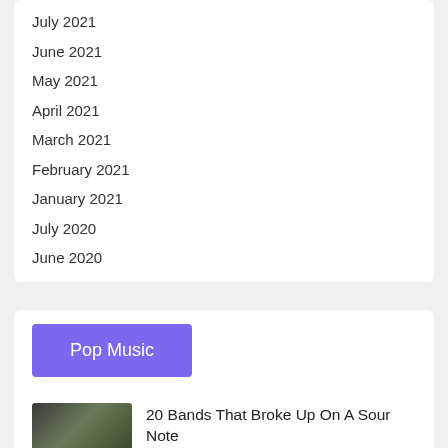July 2021
June 2021
May 2021
April 2021
March 2021
February 2021
January 2021
July 2020
June 2020
Pop Music
20 Bands That Broke Up On A Sour Note